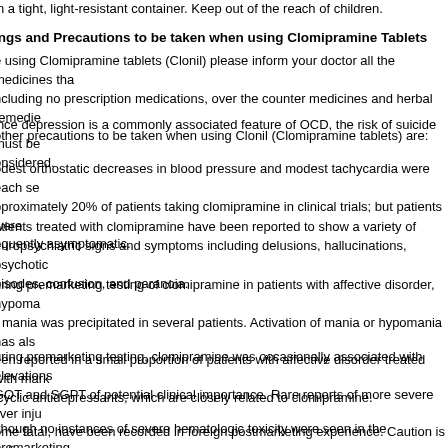in a tight, light-resistant container. Keep out of the reach of children.
ings and Precautions to be taken when using Clomipramine Tablets
e using Clomipramine tablets (Clonil) please inform your doctor all the medicines that including no prescription medications, over the counter medicines and herbal remedies. other precautions to be taken when using Clonil (Clomipramine tablets) are:
ince depression is a commonly associated feature of OCD, the risk of suicide must be considered.
odest orthostatic decreases in blood pressure and modest tachycardia were each seen in approximately 20% of patients taking clomipramine in clinical trials; but patients were frequently asymptomatic.
atients treated with clomipramine have been reported to show a variety of neuropsychiatric signs and symptoms including delusions, hallucinations, psychotic episodes, confusion, and paranoia.
uring premarketing testing of clomipramine in patients with affective disorder, hypomania or mania was precipitated in several patients. Activation of mania or hypomania has also been reported in a small proportion of patients with affective disorder treated with marketed cyclic antidepressants, which are closely related to clomipramine.
uring premarketing testing, clomipramine was occasionally associated with elevations of SGOT and SGPT of potential clinical importance. Rare reports of more severe liver injury, some fatal, have been recorded in foreign postmarketing experience. Caution is indicated in treating patients with known liver disease, and periodic monitoring of hepatic enzyme levels is recommended in such patients.
lthough no instances of severe hematologic toxicity were seen in the premarketing experience with clomipramine, there have been postmarketing reports of leukopenia, granulocytosis, thrombocytopenia, anemia, and pancytopenia in association with